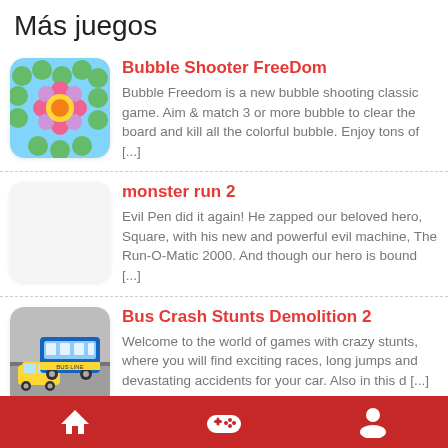Más juegos
Bubble Shooter FreeDom — Bubble Freedom is a new bubble shooting classic game. Aim & match 3 or more bubble to clear the board and kill all the colorful bubble. Enjoy tons of [...]
monster run 2 — Evil Pen did it again! He zapped our beloved hero, Square, with his new and powerful evil machine, The Run-O-Matic 2000. And though our hero is bound [...]
Bus Crash Stunts Demolition 2 — Welcome to the world of games with crazy stunts, where you will find exciting races, long jumps and devastating accidents for your car. Also in this d [...]
Craft Punch — Craft Punch game. Hit the Steve but never hit the
Home | Games | Profile